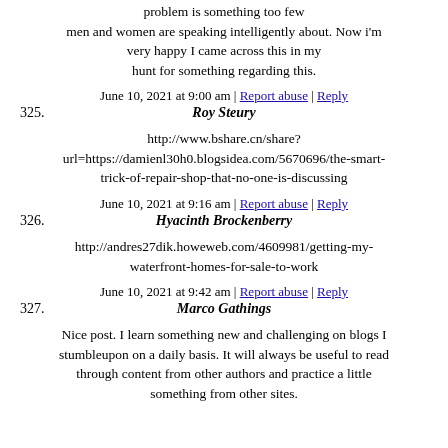problem is something too few men and women are speaking intelligently about. Now i'm very happy I came across this in my hunt for something regarding this.
June 10, 2021 at 9:00 am | Report abuse | Reply
325. Roy Steury
http://www.bshare.cn/share?url=https://damienl30h0.blogsidea.com/5670696/the-smart-trick-of-repair-shop-that-no-one-is-discussing
June 10, 2021 at 9:16 am | Report abuse | Reply
326. Hyacinth Brockenberry
http://andres27dik.howeweb.com/4609981/getting-my-waterfront-homes-for-sale-to-work
June 10, 2021 at 9:42 am | Report abuse | Reply
327. Marco Gathings
Nice post. I learn something new and challenging on blogs I stumbleupon on a daily basis. It will always be useful to read through content from other authors and practice a little something from other sites.